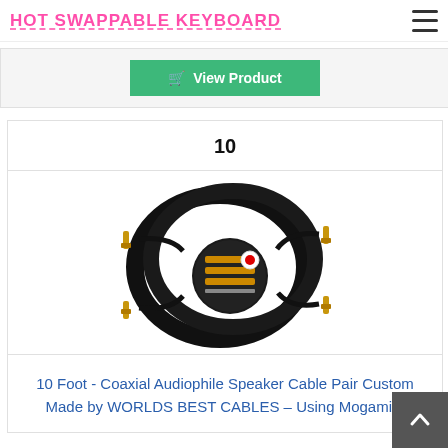HOT SWAPPABLE KEYBOARD
View Product
10
[Figure (photo): Black coaxial audiophile speaker cable pair coiled, with gold banana plug connectors and a label reading WORLDS BEST CABLES with a Japanese flag icon.]
10 Foot - Coaxial Audiophile Speaker Cable Pair Custom Made by WORLDS BEST CABLES – Using Mogami...